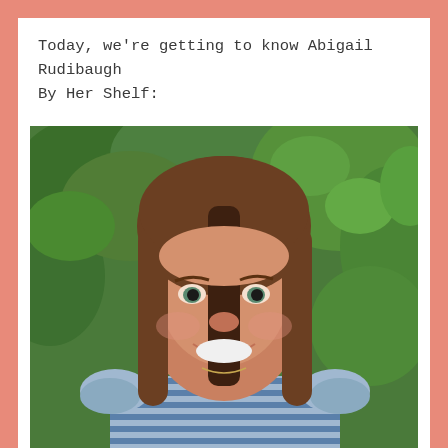Today, we're getting to know Abigail Rudibaugh By Her Shelf:
[Figure (photo): Headshot of a smiling woman with long straight brown hair, wearing a blue and white striped top with ruffled sleeves, standing in front of green foliage outdoors.]